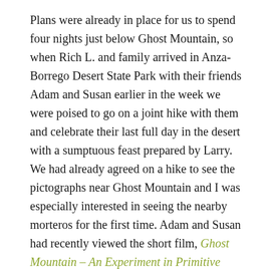Plans were already in place for us to spend four nights just below Ghost Mountain, so when Rich L. and family arrived in Anza-Borrego Desert State Park with their friends Adam and Susan earlier in the week we were poised to go on a joint hike with them and celebrate their last full day in the desert with a sumptuous feast prepared by Larry.  We had already agreed on a hike to see the pictographs near Ghost Mountain and I was especially interested in seeing the nearby morteros for the first time. Adam and Susan had recently viewed the short film, Ghost Mountain – An Experiment in Primitive Living, shown in the Anza-Borrego Desert State Park's Visitors' Center, and they were interested in hiking up to see Marshal South's former home site, Yaquitepec, on Ghost Mountain. So we decided to do all three hikes in one afternoon.